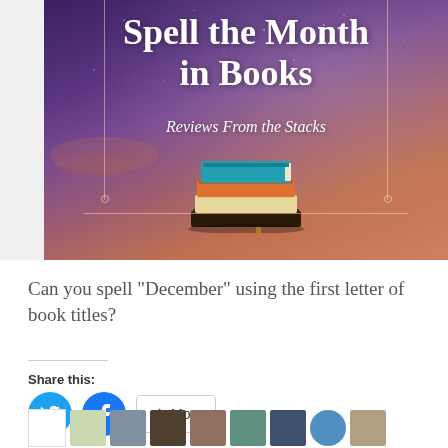[Figure (illustration): Banner image with night sky background (purple/mauve gradient with stars and orange clouds at horizon). White decorative vertical lines hang from top with small circles. A stack of illustrated books (teal, orange, cream, dark brown) sits in center. Decorative horizontal line near bottom of banner.]
Spell the Month in Books
Reviews From the Stacks
Can you spell "December" using the first letter of book titles?
Share this: